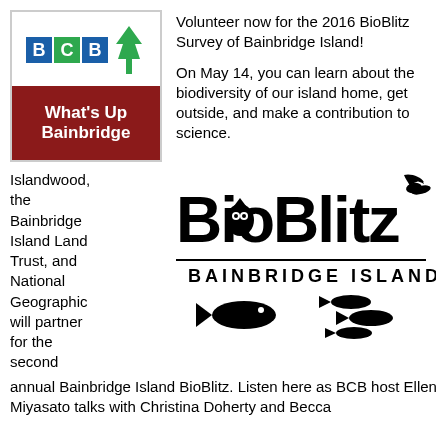[Figure (logo): BCB What's Up Bainbridge logo — blue BCB letters with a tree silhouette on white background, dark red rectangle with white bold text 'What's Up Bainbridge']
Volunteer now for the 2016 BioBlitz Survey of Bainbridge Island!

On May 14, you can learn about the biodiversity of our island home, get outside, and make a contribution to science.
Islandwood, the Bainbridge Island Land Trust, and National Geographic will partner for the second annual Bainbridge Island BioBlitz. Listen here as BCB host Ellen Miyasato talks with Christina Doherty and Becca
[Figure (logo): BioBlitz Bainbridge Island logo in black — large 'BioBlitz' text with wildlife silhouettes including a bird on the z, an owl in the second 'o', a horizontal rule, 'BAINBRIDGE ISLAND' text, and fish silhouettes below]